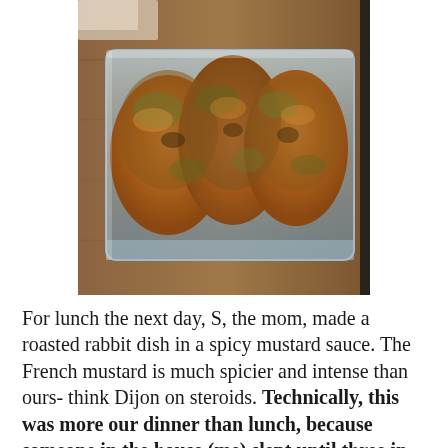[Figure (photo): A glass rectangular baking dish containing roasted rabbit pieces covered in a spicy mustard sauce, placed on a wooden cutting board. The dish has a golden-brown coating with visible herbs.]
For lunch the next day, S, the mom, made a roasted rabbit dish in a spicy mustard sauce. The French mustard is much spicier and intense than ours- think Dijon on steroids. Technically, this was more our dinner than lunch, because someone in the house (me) slept until three in the afternoon after a long